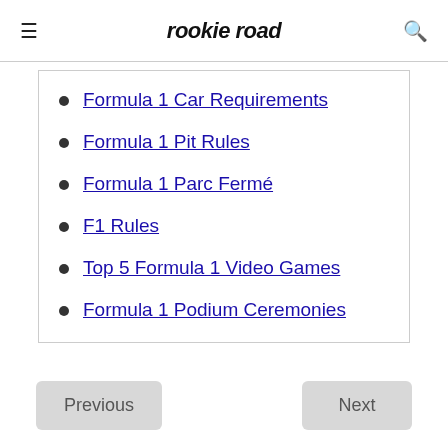rookie road
Formula 1 Car Requirements
Formula 1 Pit Rules
Formula 1 Parc Fermé
F1 Rules
Top 5 Formula 1 Video Games
Formula 1 Podium Ceremonies
Previous  Next